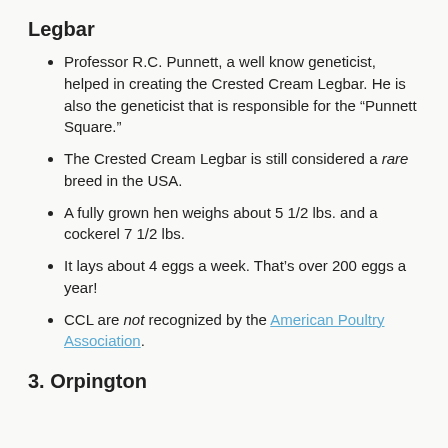Legbar
Professor R.C. Punnett, a well know geneticist, helped in creating the Crested Cream Legbar. He is also the geneticist that is responsible for the “Punnett Square.”
The Crested Cream Legbar is still considered a rare breed in the USA.
A fully grown hen weighs about 5 1/2 lbs. and a cockerel 7 1/2 lbs.
It lays about 4 eggs a week. That’s over 200 eggs a year!
CCL are not recognized by the American Poultry Association.
3. Orpington